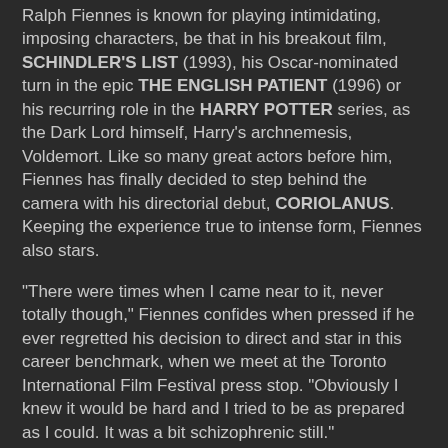Ralph Fiennes is known for playing intimidating, imposing characters, be that in his breakout film, SCHINDLER'S LIST (1993), his Oscar-nominated turn in the epic THE ENGLISH PATIENT (1996) or his recurring role in the HARRY POTTER series, as the Dark Lord himself, Harry's archnemesis, Voldemort. Like so many great actors before him, Fiennes has finally decided to step behind the camera with his directorial debut, CORIOLANUS. Keeping the experience true to intense form, Fiennes also stars.
"There were times when I came near to it, never totally though," Fiennes confides when pressed if he ever regretted his decision to direct and star in this career benchmark, when we meet at the Toronto International Film Festival press stop. "Obviously I knew it would be hard and I tried to be as prepared as I could. It was a bit schizophrenic still."
Based on one of William Shakespeare's lesser known tragedies, and set in modern day Rome, CORIOLANUS finds Fiennes' hero briskly built up and violently torn down by a near mad society, desperate for change and better living. "I love it dramatically because I think audiences are challenged ...